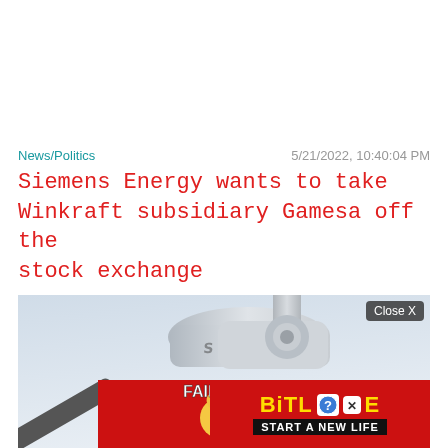News/Politics	5/21/2022, 10:40:04 PM
Siemens Energy wants to take Winkraft subsidiary Gamesa off the stock exchange
[Figure (photo): Wind turbine nacelle photographed from below against a pale blue sky background, with an advertisement overlay at the bottom showing a BitLife mobile game ad with 'FAIL' text and 'START A NEW LIFE' tagline, and a 'Close X' button.]